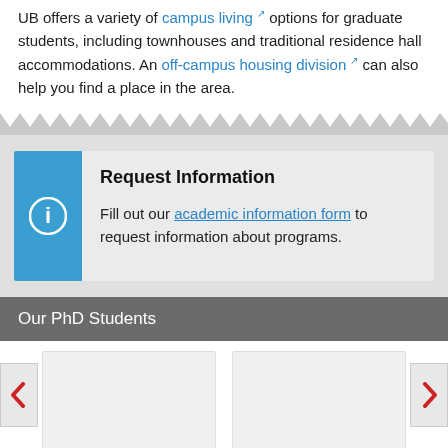UB offers a variety of campus living options for graduate students, including townhouses and traditional residence hall accommodations. An off-campus housing division can also help you find a place in the area.
[Figure (infographic): Request Information callout box with blue sidebar containing info icon, heading 'Request Information', and text about filling out academic information form.]
Our PhD Students
[Figure (other): Two student profile card placeholders with left and right navigation arrows.]